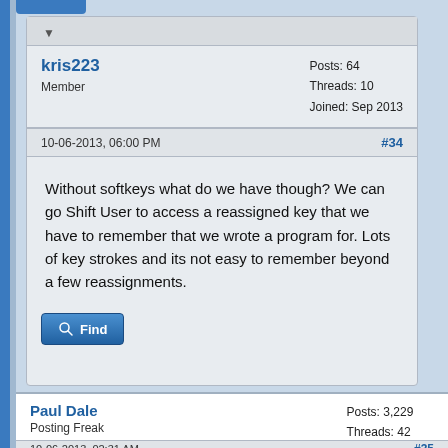kris223
Member
Posts: 64
Threads: 10
Joined: Sep 2013
10-06-2013, 06:00 PM
#34
Without softkeys what do we have though? We can go Shift User to access a reassigned key that we have to remember that we wrote a program for. Lots of key strokes and its not easy to remember beyond a few reassignments.
Find
Paul Dale
Posting Freak
Posts: 3,229
Threads: 42
Joined: Jul 2006
10-06-2013, 02:31 AM
#35